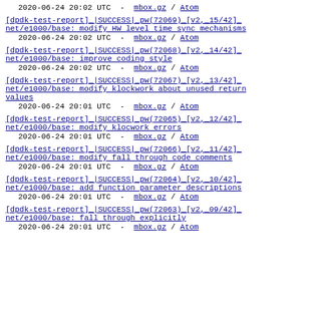2020-06-24 20:02 UTC  -  mbox.gz / Atom
[dpdk-test-report]_|SUCCESS|_pw(72069)_[v2,_15/42]_net/e1000/base: modify HW level time sync mechanisms
2020-06-24 20:02 UTC  -  mbox.gz / Atom
[dpdk-test-report]_|SUCCESS|_pw(72068)_[v2,_14/42]_net/e1000/base: improve coding style
2020-06-24 20:02 UTC  -  mbox.gz / Atom
[dpdk-test-report]_|SUCCESS|_pw(72067)_[v2,_13/42]_net/e1000/base: modify klockwork about unused return values
2020-06-24 20:01 UTC  -  mbox.gz / Atom
[dpdk-test-report]_|SUCCESS|_pw(72065)_[v2,_12/42]_net/e1000/base: modify klocwork errors
2020-06-24 20:01 UTC  -  mbox.gz / Atom
[dpdk-test-report]_|SUCCESS|_pw(72066)_[v2,_11/42]_net/e1000/base: modify fall through code comments
2020-06-24 20:01 UTC  -  mbox.gz / Atom
[dpdk-test-report]_|SUCCESS|_pw(72064)_[v2,_10/42]_net/e1000/base: add function parameter descriptions
2020-06-24 20:01 UTC  -  mbox.gz / Atom
[dpdk-test-report]_|SUCCESS|_pw(72063)_[v2,_09/42]_net/e1000/base: fall through explicitly
2020-06-24 20:01 UTC  -  mbox.gz / Atom